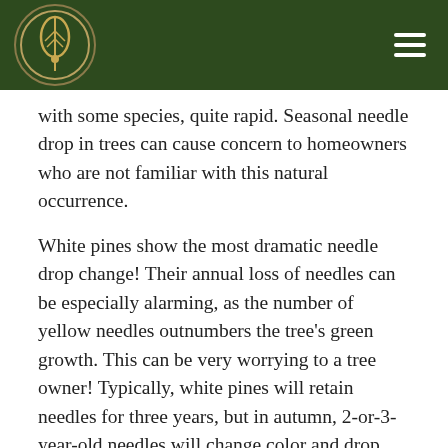[Logo and navigation header]
with some species, quite rapid. Seasonal needle drop in trees can cause concern to homeowners who are not familiar with this natural occurrence.
White pines show the most dramatic needle drop change! Their annual loss of needles can be especially alarming, as the number of yellow needles outnumbers the tree's green growth. This can be very worrying to a tree owner! Typically, white pines will retain needles for three years, but in autumn, 2-or-3-year-old needles will change color and drop, leaving only the current season's growth still attached.
So if you are seeing your evergreen trees drop yellow needles, this is part of their natural process. However, if you are seeing widespread decay within your tree, then please call the office to schedule an estimate at the